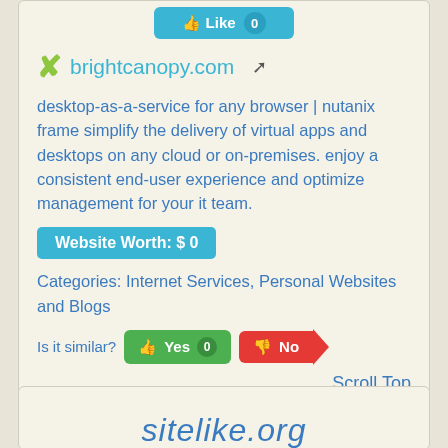[Figure (screenshot): Like button badge at top of card, teal/cyan color with thumbs up icon and count badge]
brightcanopy.com
desktop-as-a-service for any browser | nutanix frame simplify the delivery of virtual apps and desktops on any cloud or on-premises. enjoy a consistent end-user experience and optimize management for your it team.
Website Worth: $ 0
Categories: Internet Services, Personal Websites and Blogs
Is it similar? Yes 0  No  Scroll Top
sitelike.org